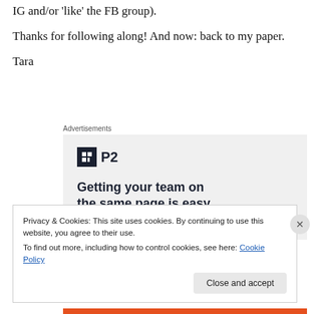IG and/or 'like' the FB group).
Thanks for following along! And now: back to my paper.
Tara
Advertisements
[Figure (other): P2 advertisement with logo and tagline 'Getting your team on the same page is easy.']
Privacy & Cookies: This site uses cookies. By continuing to use this website, you agree to their use.
To find out more, including how to control cookies, see here: Cookie Policy
Close and accept